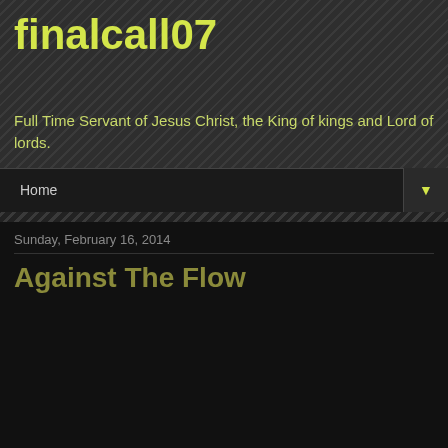finalcall07
Full Time Servant of Jesus Christ, the King of kings and Lord of lords.
Home
Sunday, February 16, 2014
Against The Flow